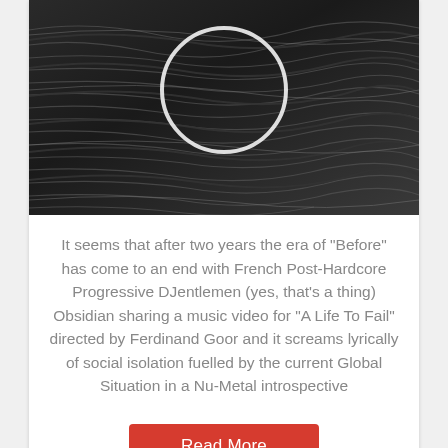[Figure (photo): Black and white photo of layered rock formations with a white circle overlay in the upper center area]
It seems that after two years the era of "Before" has come to an end with French Post-Hardcore Progressive DJentlemen (yes, that's a thing) Obsidian sharing a music video for "A Life To Fail" directed by Ferdinand Goor and it screams lyrically of social isolation fuelled by the current Global Situation in a Nu-Metal introspective
Read More